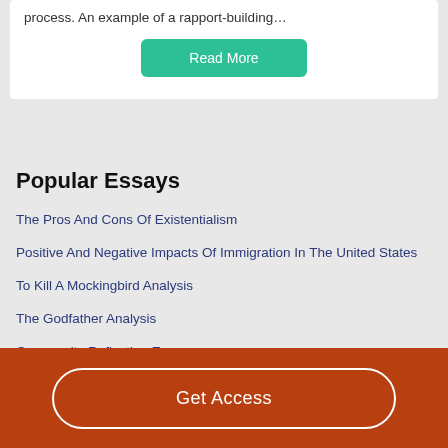process. An example of a rapport-building…
Read More
Popular Essays
The Pros And Cons Of Existentialism
Positive And Negative Impacts Of Immigration In The United States
To Kill A Mockingbird Analysis
The Godfather Analysis
Community Reflection Essay
Get Access